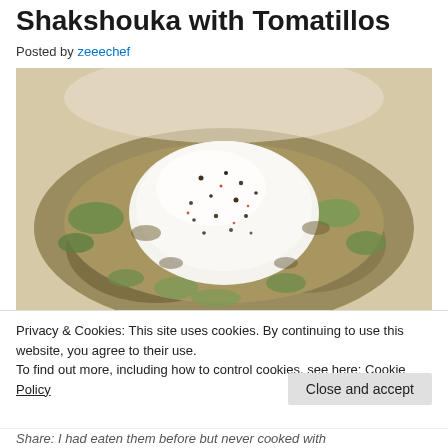Shakshouka with Tomatillos
Posted by zeeechef
[Figure (photo): A close-up photo of shakshouka made with tomatillos — a poached egg with a white dome center sprinkled with black and red spices, surrounded by a chunky olive-green and brown tomatillo sauce.]
Privacy & Cookies: This site uses cookies. By continuing to use this website, you agree to their use.
To find out more, including how to control cookies, see here: Cookie Policy
Close and accept
Share: I had eaten them before but never cooked with